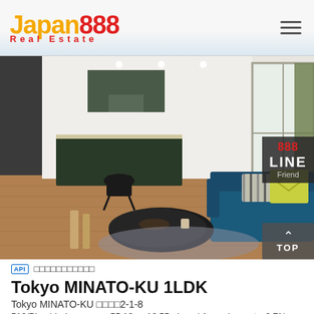Japan888 Real Estate
[Figure (photo): Interior photograph/rendering of a modern Japanese apartment 1LDK showing open-plan kitchen, living room with blue sofa, wood flooring, and large windows. LINE Friend and TOP navigation overlays on the right side.]
API   □□□□□□□□□□□
Tokyo MINATO-KU 1LDK
Tokyo MINATO-KU □□□□2-1-8
512/Ping | Indoor area：55.12 □□16.55 ping□ | Annual report：3.7%
Tokyo Metro Nanboku LineAzabujuban Station Walk for 1